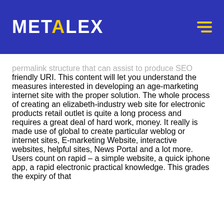METALEX
permalink structure that can assist to produce SEO friendly URI. This content will let you understand the measures interested in developing an age-marketing internet site with the proper solution. The whole process of creating an elizabeth-industry web site for electronic products retail outlet is quite a long process and requires a great deal of hard work, money. It really is made use of global to create particular weblog or internet sites, E-marketing Website, interactive websites, helpful sites, News Portal and a lot more. Users count on rapid – a simple website, a quick iphone app, a rapid electronic practical knowledge. This grades the expiry of that